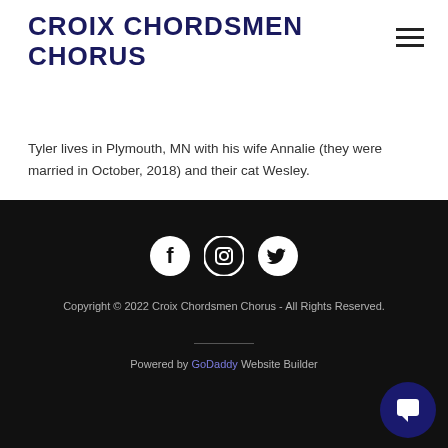CROIX CHORDSMEN CHORUS
Tyler lives in Plymouth, MN with his wife Annalie (they were married in October, 2018) and their cat Wesley.
[Figure (other): Social media icons: Facebook, Instagram, Twitter, displayed as white circles on black background]
Copyright © 2022 Croix Chordsmen Chorus - All Rights Reserved.
Powered by GoDaddy Website Builder